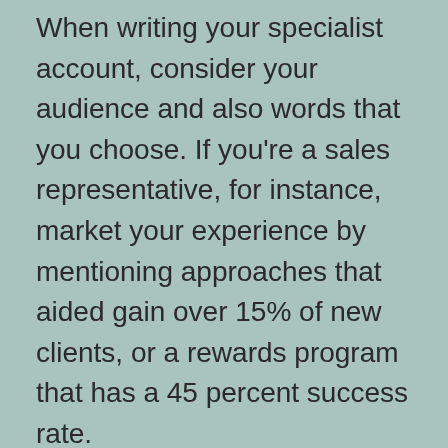When writing your specialist account, consider your audience and also words that you choose. If you're a sales representative, for instance, market your experience by mentioning approaches that aided gain over 15% of new clients, or a rewards program that has a 45 percent success rate.
While your instructional background is essential, you need to concentrate more on your professional experience. A Specialist Profile will define your previous work experience and also not your education. It ought to be quick and give a feeling of your